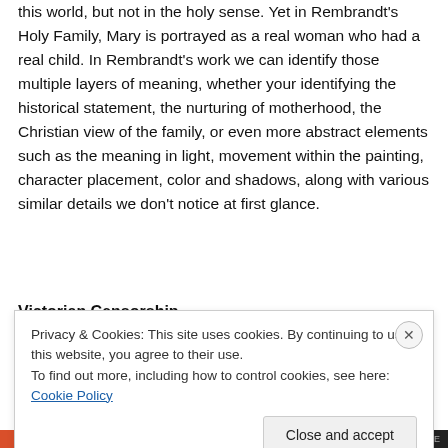this world, but not in the holy sense. Yet in Rembrandt's Holy Family, Mary is portrayed as a real woman who had a real child. In Rembrandt's work we can identify those multiple layers of meaning, whether your identifying the historical statement, the nurturing of motherhood, the Christian view of the family, or even more abstract elements such as the meaning in light, movement within the painting, character placement, color and shadows, along with various similar details we don't notice at first glance.
Victorian Censorship
Privacy & Cookies: This site uses cookies. By continuing to use this website, you agree to their use. To find out more, including how to control cookies, see here: Cookie Policy